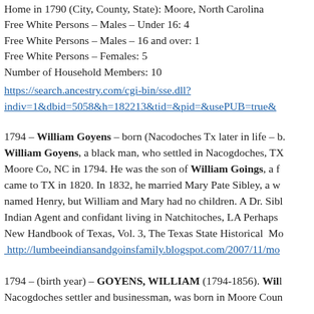Home in 1790 (City, County, State): Moore, North Carolina
Free White Persons – Males – Under 16: 4
Free White Persons – Males – 16 and over: 1
Free White Persons – Females: 5
Number of Household Members: 10
https://search.ancestry.com/cgi-bin/sse.dll?indiv=1&dbid=5058&h=182213&tid=&pid=&usePUB=true&
1794 – William Goyens – born (Nacodoches Tx later in life – b. William Goyens, a black man, who settled in Nacogdoches, TX Moore Co, NC in 1794. He was the son of William Goings, a f came to TX in 1820. In 1832, he married Mary Pate Sibley, a w named Henry, but William and Mary had no children. A Dr. Sibl Indian Agent and confidant living in Natchitoches, LA Perhaps New Handbook of Texas, Vol. 3, The Texas State Historical Mo
http://lumbeeindiansandgoinsfamily.blogspot.com/2007/11/mo
1794 – (birth year) – GOYENS, WILLIAM (1794-1856). Will Nacogdoches settler and businessman, was born in Moore Coun